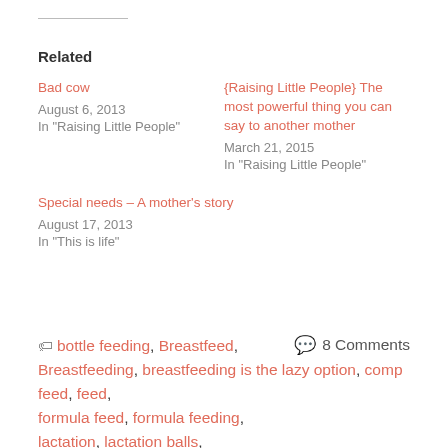Related
Bad cow
August 6, 2013
In "Raising Little People"
{Raising Little People} The most powerful thing you can say to another mother
March 21, 2015
In "Raising Little People"
Special needs – A mother's story
August 17, 2013
In "This is life"
bottle feeding, Breastfeed, Breastfeeding, breastfeeding is the lazy option, comp feed, feed, formula feed, formula feeding, lactation, lactation balls, lactation cookies, lactation
8 Comments